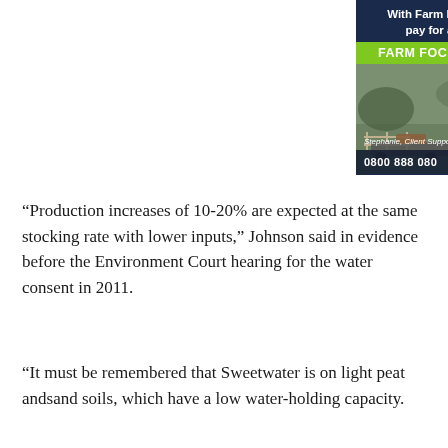[Figure (photo): Farm Focus advertisement showing a smiling woman (Stephanie, Client Support Team) in a blue and green jacket holding tools outdoors near farm equipment. The ad has a dark navy top section with white bold text, a green bar with 'FARM FOCUS, SIMPLE AS THAT!', a photo, a phone number 0800 888 080, and a Farm Focus logo.]
“Production increases of 10-20% are expected at the same stocking rate with lower inputs,” Johnson said in evidence before the Environment Court hearing for the water consent in 2011.
“It must be remembered that Sweetwater is on light peat andsand soils, which have a low water-holding capacity.